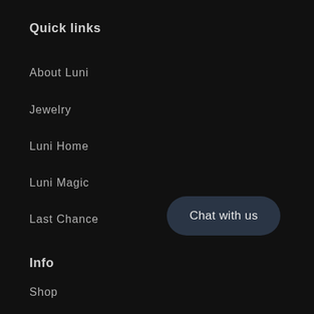Quick links
About Luni
Jewelry
Luni Home
Luni Magic
Last Chance
Info
Shop
Search
Chat with us